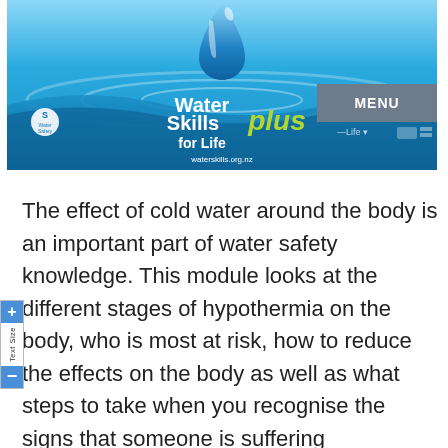[Figure (illustration): Water Skills for Life Plus banner with water droplet, ripples, Water Safety New Zealand logo, and MENU button. Website: waterskills.org.nz]
The effect of cold water around the body is an important part of water safety knowledge. This module looks at the different stages of hypothermia on the body, who is most at risk, how to reduce the effects on the body as well as what steps to take when you recognise the signs that someone is suffering